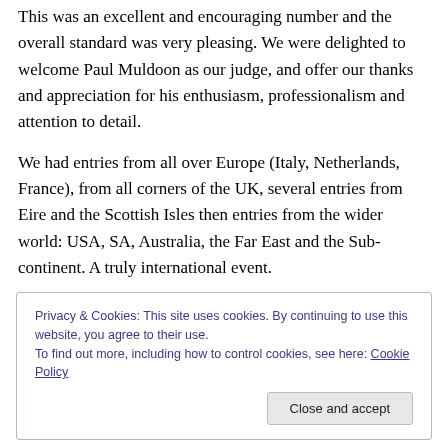This was an excellent and encouraging number and the overall standard was very pleasing. We were delighted to welcome Paul Muldoon as our judge, and offer our thanks and appreciation for his enthusiasm, professionalism and attention to detail.
We had entries from all over Europe (Italy, Netherlands, France), from all corners of the UK, several entries from Eire and the Scottish Isles then entries from the wider world: USA, SA, Australia, the Far East and the Sub-continent. A truly international event.
Privacy & Cookies: This site uses cookies. By continuing to use this website, you agree to their use. To find out more, including how to control cookies, see here: Cookie Policy
Close and accept